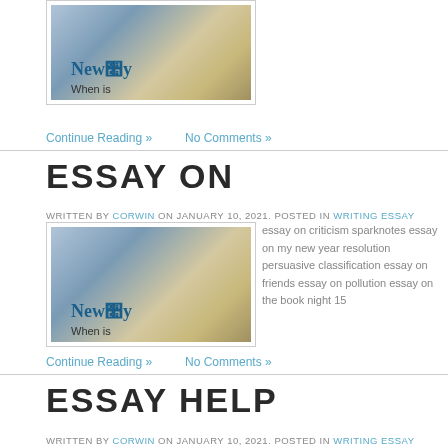[Figure (photo): Newspaper stack photo at top of page]
Continue Reading »   No Comments »
ESSAY ON
WRITTEN BY CORWIN ON JANUARY 10, 2021. POSTED IN WRITING ESSAY
[Figure (photo): Newspaper stack photo for Essay On post]
essay on criticism sparknotes essay on my new year resolution persuasive classification essay on friends essay on pollution essay on the book night 15
Continue Reading »   No Comments »
ESSAY HELP
WRITTEN BY CORWIN ON JANUARY 10, 2021. POSTED IN WRITING ESSAY